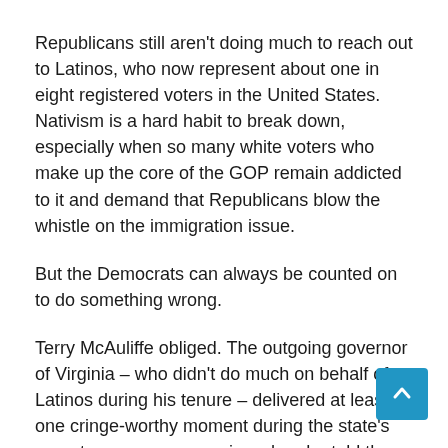Republicans still aren't doing much to reach out to Latinos, who now represent about one in eight registered voters in the United States. Nativism is a hard habit to break down, especially when so many white voters who make up the core of the GOP remain addicted to it and demand that Republicans blow the whistle on the immigration issue.
But the Democrats can always be counted on to do something wrong.
Terry McAuliffe obliged. The outgoing governor of Virginia – who didn't do much on behalf of Latinos during his tenure – delivered at least one cringe-worthy moment during the state's recent governors campaign when he told the Latino volunteers to go ahead and multiply. McAuliffe urged young people to “keep busy,” suggesting they procreate to increase their demographic and political strength in the Old Dominion.
“10.5% of the population is very large,” McAuliffe to